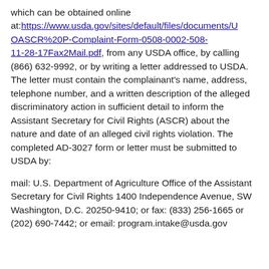which can be obtained online at: https://www.usda.gov/sites/default/files/documents/UOASCR%20P-Complaint-Form-0508-0002-508-11-28-17Fax2Mail.pdf, from any USDA office, by calling (866) 632-9992, or by writing a letter addressed to USDA. The letter must contain the complainant's name, address, telephone number, and a written description of the alleged discriminatory action in sufficient detail to inform the Assistant Secretary for Civil Rights (ASCR) about the nature and date of an alleged civil rights violation. The completed AD-3027 form or letter must be submitted to USDA by:
mail: U.S. Department of Agriculture Office of the Assistant Secretary for Civil Rights 1400 Independence Avenue, SW Washington, D.C. 20250-9410; or fax: (833) 256-1665 or (202) 690-7442; or email: program.intake@usda.gov